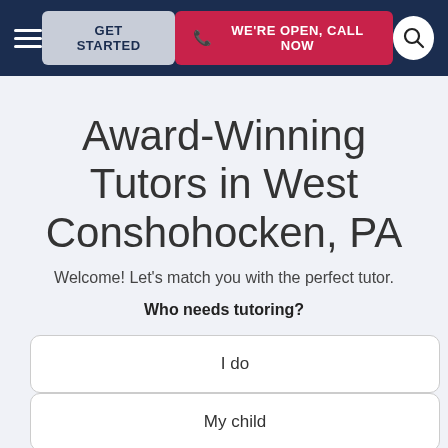GET STARTED | WE'RE OPEN, CALL NOW
Award-Winning Tutors in West Conshohocken, PA
Welcome! Let's match you with the perfect tutor.
Who needs tutoring?
I do
My child